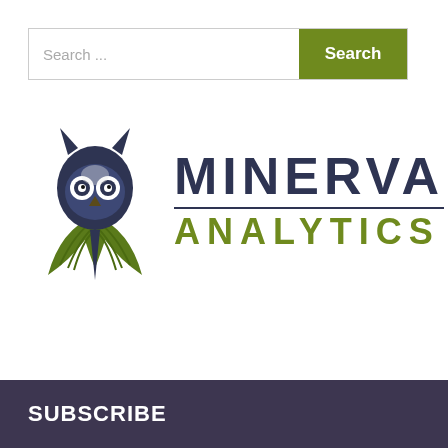[Figure (other): Search bar with text input placeholder 'Search ...' and a green 'Search' button]
[Figure (logo): Minerva Analytics logo featuring an owl with green wings and dark head, with 'MINERVA' in dark navy bold text and 'ANALYTICS' in green bold text below a horizontal dividing line]
SUBSCRIBE